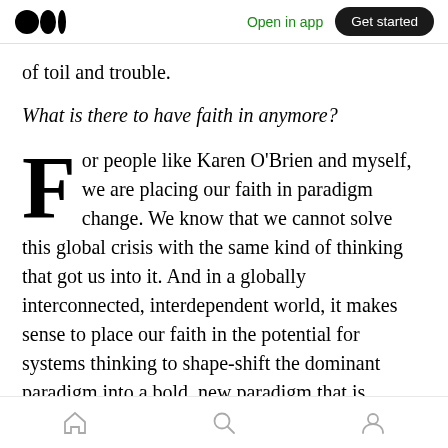Medium — Open in app | Get started
of toil and trouble.
What is there to have faith in anymore?
For people like Karen O'Brien and myself, we are placing our faith in paradigm change. We know that we cannot solve this global crisis with the same kind of thinking that got us into it. And in a globally interconnected, interdependent world, it makes sense to place our faith in the potential for systems thinking to shape-shift the dominant paradigm into a bold, new paradigm that is actually up to the task of social
Home | Search | Profile